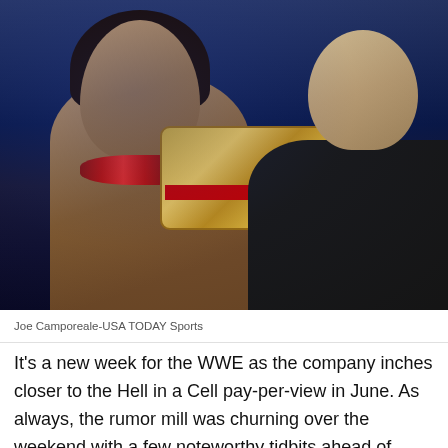[Figure (photo): Roman Reigns standing shirtless with a red lei around his neck and a WWE championship belt, alongside Paul Heyman at a WWE event with blue stage lighting in the background.]
Joe Camporeale-USA TODAY Sports
It's a new week for the WWE as the company inches closer to the Hell in a Cell pay-per-view in June. As always, the rumor mill was churning over the weekend with a few noteworthy tidbits ahead of tonight's episode of Monday Night Raw from Norfolk,